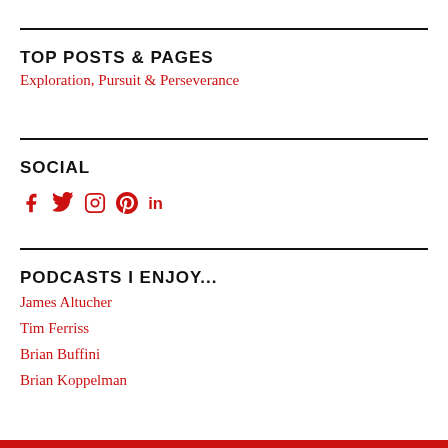TOP POSTS & PAGES
Exploration, Pursuit & Perseverance
SOCIAL
[Figure (infographic): Social media icons: Facebook, Twitter, Instagram, Pinterest, LinkedIn in red]
PODCASTS I ENJOY...
James Altucher
Tim Ferriss
Brian Buffini
Brian Koppelman